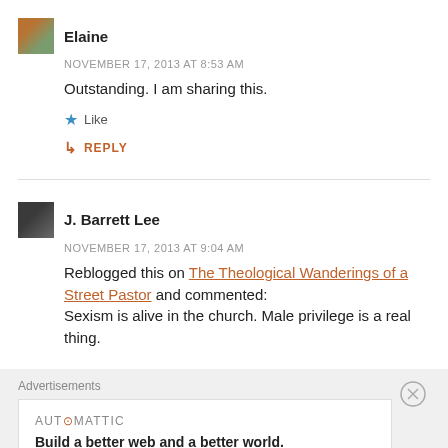Elaine
NOVEMBER 17, 2013 AT 8:53 AM
Outstanding. I am sharing this.
★ Like
↳ REPLY
J. Barrett Lee
NOVEMBER 17, 2013 AT 9:04 AM
Reblogged this on The Theological Wanderings of a Street Pastor and commented: Sexism is alive in the church. Male privilege is a real thing.
Advertisements
AUTOMATTIC
Build a better web and a better world.